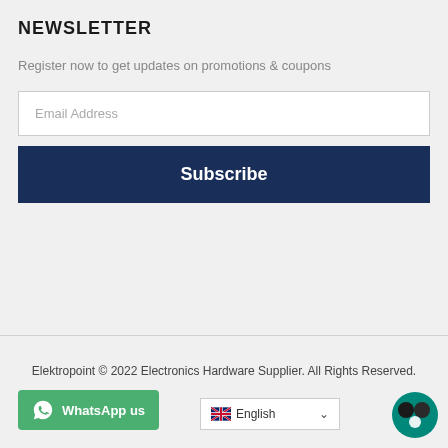NEWSLETTER
Register now to get updates on promotions & coupons
Email Address
Subscribe
Elektropoint © 2022 Electronics Hardware Supplier. All Rights Reserved.
WhatsApp us
English